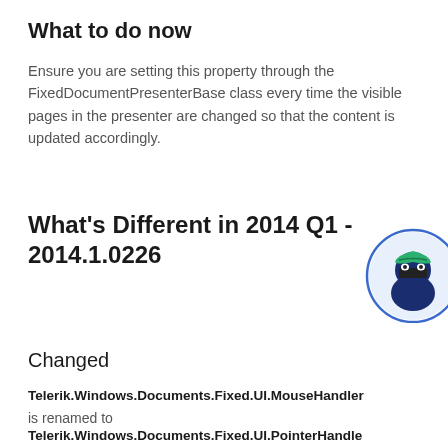What to do now
Ensure you are setting this property through the FixedDocumentPresenterBase class every time the visible pages in the presenter are changed so that the content is updated accordingly.
What's Different in 2014 Q1 - 2014.1.0226
[Figure (illustration): Ninja mascot character with green headband inside a blue circular border]
Changed
Telerik.Windows.Documents.Fixed.UI.MouseHandler is renamed to Telerik.Windows.Documents.Fixed.UI.PointerHandle